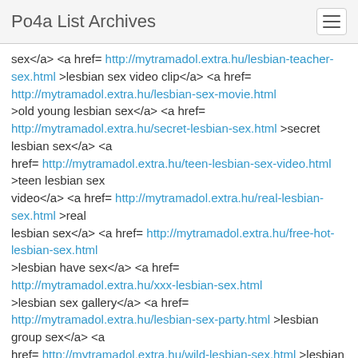Po4a List Archives
sex</a> <a href= http://mytramadol.extra.hu/lesbian-teacher-sex.html >lesbian sex video clip</a> <a href= http://mytramadol.extra.hu/lesbian-sex-movie.html >old young lesbian sex</a> <a href= http://mytramadol.extra.hu/secret-lesbian-sex.html >secret lesbian sex</a> <a href= http://mytramadol.extra.hu/teen-lesbian-sex-video.html >teen lesbian sex video</a> <a href= http://mytramadol.extra.hu/real-lesbian-sex.html >real lesbian sex</a> <a href= http://mytramadol.extra.hu/free-hot-lesbian-sex.html >lesbian have sex</a> <a href= http://mytramadol.extra.hu/xxx-lesbian-sex.html >lesbian sex gallery</a> <a href= http://mytramadol.extra.hu/lesbian-sex-party.html >lesbian group sex</a> <a href= http://mytramadol.extra.hu/wild-lesbian-sex.html >lesbian